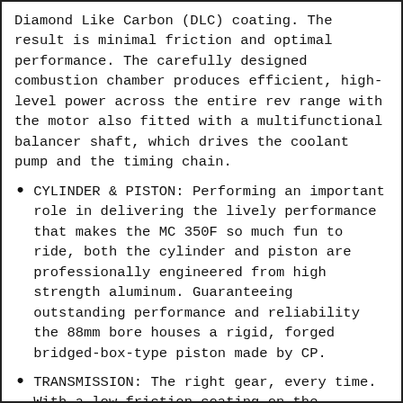Diamond Like Carbon (DLC) coating. The result is minimal friction and optimal performance. The carefully designed combustion chamber produces efficient, high-level power across the entire rev range with the motor also fitted with a multifunctional balancer shaft, which drives the coolant pump and the timing chain.
CYLINDER & PISTON: Performing an important role in delivering the lively performance that makes the MC 350F so much fun to ride, both the cylinder and piston are professionally engineered from high strength aluminum. Guaranteeing outstanding performance and reliability the 88mm bore houses a rigid, forged bridged-box-type piston made by CP.
TRANSMISSION: The right gear, every time. With a low-friction coating on the internal shifting fork, all 5 gear changes on the MC 350F are smooth and purposeful. Light and durable, and featuring motocross specific ratios, the 5-speed